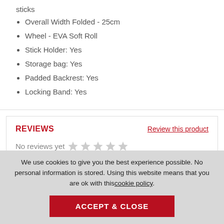sticks
Overall Width Folded - 25cm
Wheel - EVA Soft Roll
Stick Holder: Yes
Storage bag: Yes
Padded Backrest: Yes
Locking Band: Yes
REVIEWS
Review this product
No reviews yet
We use cookies to give you the best experience possible. No personal information is stored. Using this website means that you are ok with this cookie policy
ACCEPT & CLOSE